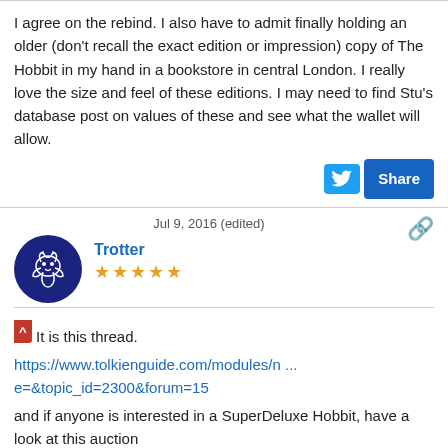I agree on the rebind. I also have to admit finally holding an older (don't recall the exact edition or impression) copy of The Hobbit in my hand in a bookstore in central London. I really love the size and feel of these editions. I may need to find Stu's database post on values of these and see what the wallet will allow.
[Figure (screenshot): Twitter Share button area with blue Twitter bird icon and a blue Share button]
Jul 9, 2016 (edited)
[Figure (logo): Blue circular avatar with white fantasy creature/dragon illustration for user Trotter]
Trotter
★★★★★
It is this thread.
https://www.tolkienguide.com/modules/n ... e=&topic_id=2300&forum=15
and if anyone is interested in a SuperDeluxe Hobbit, have a look at this auction
http://auctions.cheffins.co.uk/asp/fu ... &refno=++147127&saletype=
[Figure (photo): Partial image of a book or auction item, brownish/tan colored surface visible at the bottom of the page]